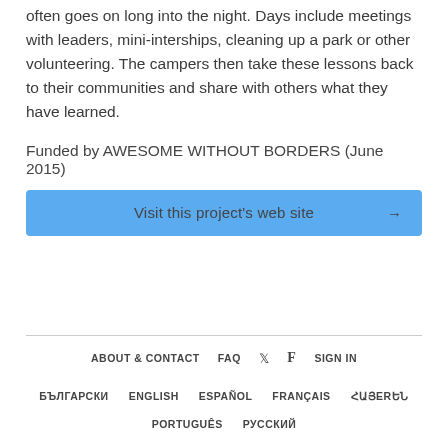often goes on long into the night. Days include meetings with leaders, mini-interships, cleaning up a park or other volunteering. The campers then take these lessons back to their communities and share with others what they have learned.
Funded by AWESOME WITHOUT BORDERS (June 2015)
Visit this project's web site →
ABOUT & CONTACT   FAQ   [twitter]   [facebook]   SIGN IN
БЪЛГАРСКИ   ENGLISH   ESPAÑOL   FRANÇAIS   ՀԱՅERԵՆ   PORTUGUÊS   РУССКИЙ